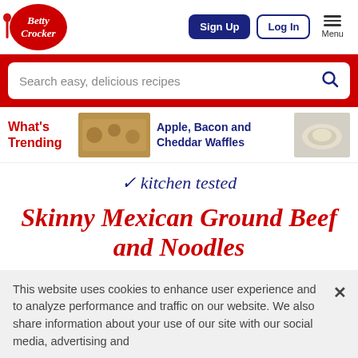[Figure (logo): Betty Crocker red oval logo with spoon and italic white text]
Sign Up
Log In
Menu
Search easy, delicious recipes
What's Trending
[Figure (photo): Photo of Apple Bacon Cheddar Waffles]
Apple, Bacon and Cheddar Waffles
[Figure (photo): Photo of a recipe dish in a bowl]
kitchen tested
Skinny Mexican Ground Beef and Noodles
This website uses cookies to enhance user experience and to analyze performance and traffic on our website. We also share information about your use of our site with our social media, advertising and